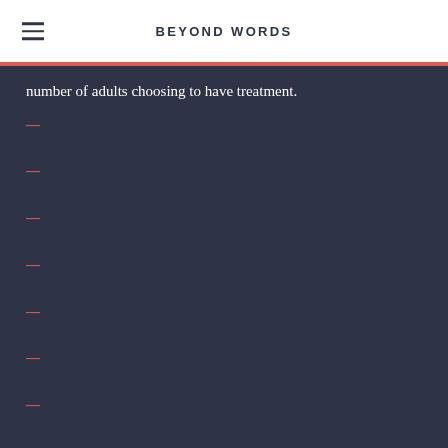BEYOND WORDS
number of adults choosing to have treatment.
—
—
—
—
—
—
—
—